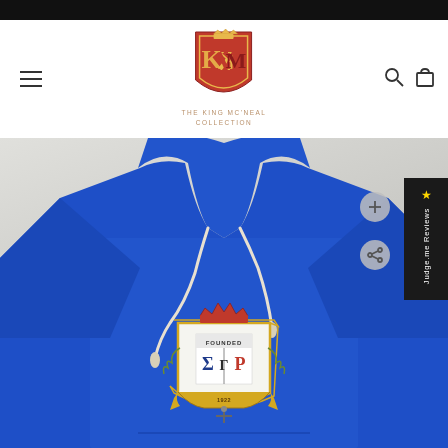[Figure (logo): The King McNeal Collection shield logo with red and gold crown design and stylized KM letters]
THE KING MC'NEAL COLLECTION
[Figure (photo): Royal blue hoodie sweatshirt with Sigma Gamma Rho fraternity crest patch on the front, photographed flat on a light background]